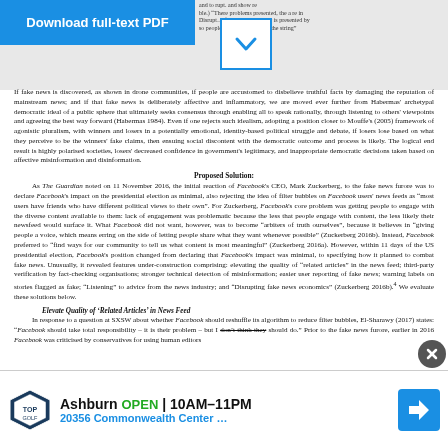[Figure (other): Blue Download full-text PDF button and dropdown arrow overlay on top of page]
If fake news is discovered, as shown in drone communities, if people are accustomed to disbelieve truthful facts by damaging the reputation of mainstream news; and if that fake news is deliberately affective and inflammatory, we are moved ever further from Habermas' archetypal democratic ideal of a public sphere that ultimately seeks consensus through enabling all to speak rationally, through listening to others' viewpoints and agreeing the best way forward (Habermas 1984). Even if one rejects such idealism, adopting a position closer to Mouffe's (2005) framework of agonistic pluralism, with winners and losers in a potentially emotional, identity-based political struggle and debate, if losers lose based on what they perceive to be the winners' fake claims, then ensuing social discontent with the democratic outcome and process is likely. The logical end result is highly polarised societies, losers' decreased confidence in government's legitimacy, and inappropriate democratic decisions taken based on affective misinformation and disinformation.
Proposed Solution:
As The Guardian noted on 11 November 2016, the initial reaction of Facebook's CEO, Mark Zuckerberg, to the fake news furore was to declare Facebook's impact on the presidential election as minimal, also rejecting the idea of filter bubbles on Facebook users' news feeds as "most users have friends who have different political views to their own". For Zuckerberg, Facebook's core problem was getting people to engage with the diverse content available to them: lack of engagement was problematic because the less that people engage with content, the less likely their newsfeed would surface it. What Facebook did not want, however, was to become "arbiters of truth ourselves", because it believes in "giving people a voice, which means erring on the side of letting people share what they want whenever possible" (Zuckerberg 2016b). Instead, Facebook preferred to "find ways for our community to tell us what content is most meaningful" (Zuckerberg 2016a). However, within 11 days of the US presidential election, Facebook's position changed from declaring that Facebook's impact was minimal, to specifying how it planned to combat fake news. Unusually, it revealed features under-construction comprising: elevating the quality of "related articles" in the news feed; third-party verification by fact-checking organisations; stronger technical detection of misinformation; easier user reporting of fake news; warning labels on stories flagged as fake; "Listening" to advice from the news industry; and "Disrupting fake news economics" (Zuckerberg 2016b).4 We evaluate these solutions below.
Elevate Quality of 'Related Articles' in News Feed
In response to a question at SXSW about whether Facebook should reshuffle its algorithm to reduce filter bubbles, El-Sharawy (2017) states: "Facebook should take total responsibility – it is their problem – but I don't think they should do." Prior to the fake news furore, earlier in 2016 Facebook was criticised by conservatives for using human editors
[Figure (other): Advertisement banner for Topgolf Ashburn showing OPEN 10AM-11PM and address 20356 Commonwealth Center with navigation arrow]